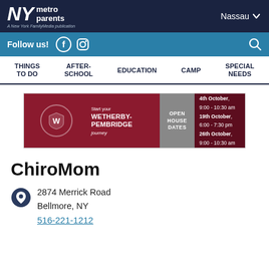NY metro parents — A New York FamilyMedia publication — Nassau
Follow us!
THINGS TO DO | AFTER-SCHOOL | EDUCATION | CAMP | SPECIAL NEEDS
[Figure (illustration): Wetherby-Pembridge school advertisement banner with open house dates: 4th October 9:00-10:30 am, 19th October 6:00-7:30 pm, 26th October 9:00-10:30 am]
ChiroMom
2874 Merrick Road
Bellmore, NY
516-221-1212